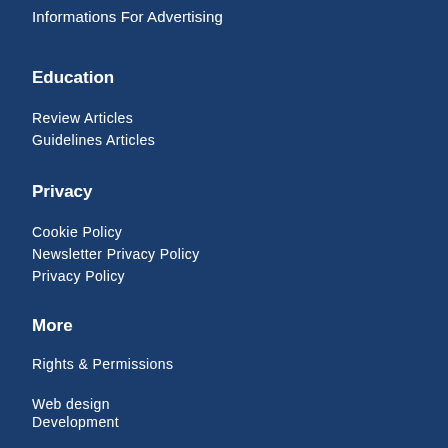Informations For Advertising
Education
Review Articles
Guidelines Articles
Privacy
Cookie Policy
Newsletter Privacy Policy
Privacy Policy
More
Rights & Permissions
Web design
Development
[Figure (illustration): Social media icons: Facebook, Twitter, Instagram]